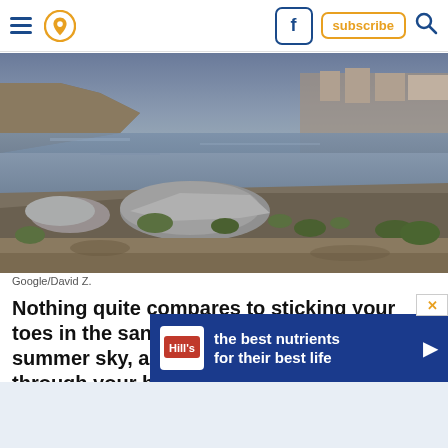Navigation header with hamburger menu, location pin icon, Facebook button, subscribe button, and search icon
[Figure (photo): Landscape photo of a rocky shoreline with a lake or reservoir, rocky outcroppings and sparse vegetation in foreground, water and distant buildings/cliffs in background under a dusky sky]
Google/David Z.
Nothing quite compares to sticking your toes in the sand underneath a cloudless summer sky, a gentle breeze rustling through your hair. If you have a boat, two main ramps on either side of the park m
[Figure (other): Advertisement banner for Hill's pet food: 'the best nutrients for their best life' with Hill's logo and play arrow button]